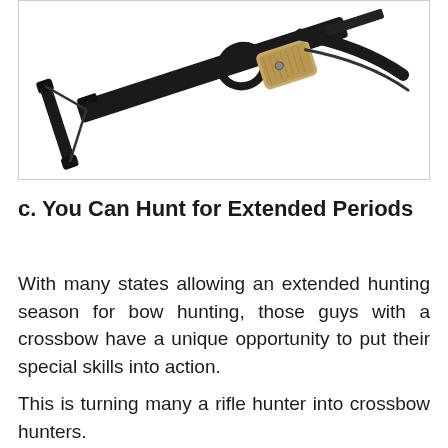[Figure (photo): Partial view of a crossbow (pistol crossbow) with black frame and tan/wood grip, shown diagonally against a white background inside a light-bordered box.]
c. You Can Hunt for Extended Periods
With many states allowing an extended hunting season for bow hunting, those guys with a crossbow have a unique opportunity to put their special skills into action.
This is turning many a rifle hunter into crossbow hunters.